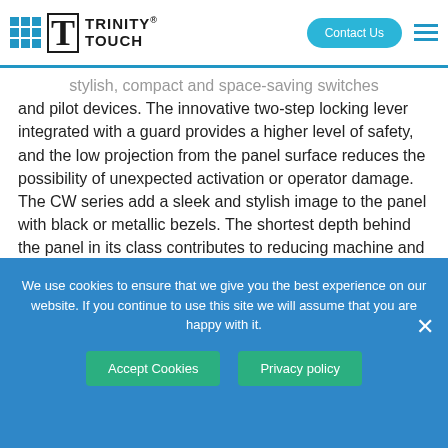Trinity Touch — Contact Us (navigation header)
stylish, compact and space-saving switches and pilot devices. The innovative two-step locking lever integrated with a guard provides a higher level of safety, and the low projection from the panel surface reduces the possibility of unexpected activation or operator damage. The CW series add a sleek and stylish image to the panel with black or metallic bezels. The shortest depth behind the panel in its class contributes to reducing machine and control panel size.
We use cookies to ensure that we give you the best experience on our website. If you continue to use this site we will assume that you are happy with it.
Accept Cookies   Privacy policy